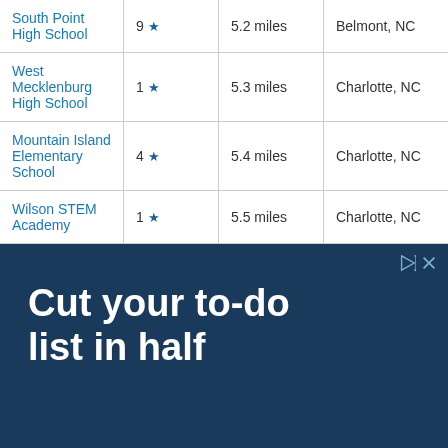| School | Rating | Distance | Location |
| --- | --- | --- | --- |
| South Point High School | 9 ★ | 5.2 miles | Belmont, NC |
| West Mecklenburg High School | 1 ★ | 5.3 miles | Charlotte, NC |
| Mountain Island Elementary School | 4 ★ | 5.4 miles | Charlotte, NC |
| Wilson STEM Academy | 1 ★ | 5.5 miles | Charlotte, NC |
[Figure (other): Advertisement banner with dark blue background showing text 'Cut your to-do list in half' in large bold white font, with play and close controls in the top right corner.]